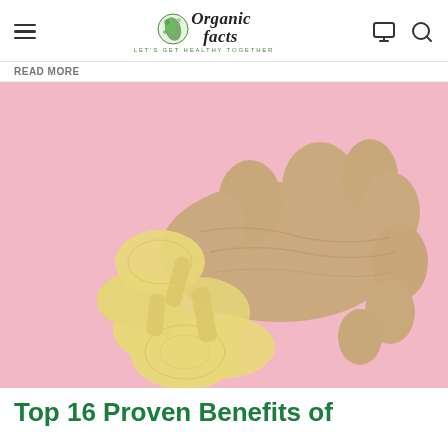Organic Facts — LET'S GET HEALTHY TOGETHER
[Figure (photo): Fresh ginger root and sliced ginger pieces on a pink background]
Top 16 Proven Benefits of